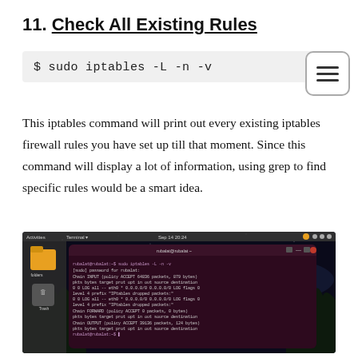11. Check All Existing Rules
$ sudo iptables -L -n -v
This iptables command will print out every existing iptables firewall rules you have set up till that moment. Since this command will display a lot of information, using grep to find specific rules would be a smart idea.
[Figure (screenshot): Terminal screenshot on Ubuntu desktop showing output of 'sudo iptables -L -n -v' command with chain INPUT, FORWARD, and OUTPUT policies listed]